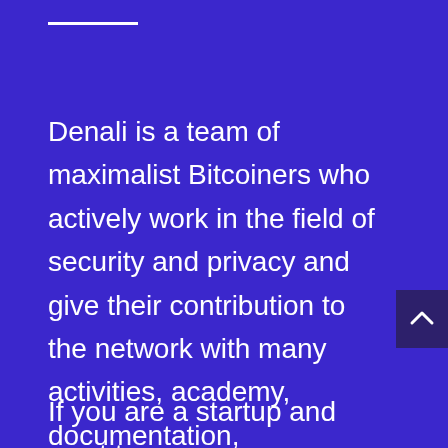—
Denali is a team of maximalist Bitcoiners who actively work in the field of security and privacy and give their contribution to the network with many activities, academy, documentation, development and other projects.
If you are a startup and want to